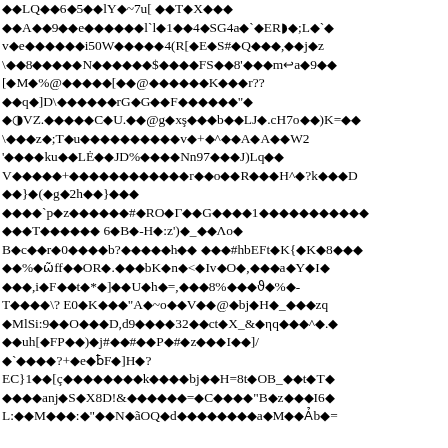◆◆LQ◆◆6◆5◆◆lY◆~7u[ ◆◆T◆X◆◆◆
◆◆A◆◆9◆◆e◆◆◆◆◆◆l`l◆1◆◆4◆SG4a◆`◆ER◗◆;L◆`◆
v◆e◆◆◆◆◆◆i50W◆◆◆◆◆4(R[◆E◆S#◆Q◆◆◆,◆◆j◆z
\◆◆8◆◆◆◆◆N◆◆◆◆◆◆$◆◆◆◆FS◆◆8'◆◆◆m↩a◆9◆◆
[◆M◆%@◆◆◆◆◆[◆◆@◆◆◆◆◆◆K◆◆◆r??
◆◆q◆]D\◆◆◆◆◆◆rG◆G◆◆F◆◆◆◆◆◆"◆
◆◑VZ.◆◆◆◆◆C◆U.◆◆@g◆xş◆◆◆b◆◆LJ◆.cH7o◆◆)K=◆◆
\◆◆◆z◆;T◆u◆◆◆◆◆◆◆◆◆◆v◆+◆^◆◆A◆A◆◆W2
'◆◆◆◆ku◆◆LĖ◆◆JD%◆◆◆◆Nn97◆◆◆J)Lq◆◆
V◆◆◆◆◆+◆◆◆◆◆◆◆◆◆◆◆◆r◆◆o◆◆R◆◆◆H^◆?k◆◆◆D
◆◆}◆(◆g◆2h◆◆}◆◆◆
◆◆◆◆`p◆z◆◆◆◆◆◆#◆RO◆Γ◆◆G◆◆◆◆1◆◆◆◆◆◆◆◆◆◆◆
◆◆◆T◆◆◆◆◆◆ 6◆B◆-H◆:z')◆_◆◆Λo◆
B◆c◆◆r◆0◆◆◆◆b?◆◆◆◆◆h◆◆ ◆◆◆#hbEFt◆K{◆K◆8◆◆◆
◆◆%◆ώff◆◆OR◆.◆◆◆bK◆n◆<◆Iv◆O◆,◆◆◆a◆Y◆I◆
◆◆◆,i◆F◆◆t◆*◆]◆◆U◆h◆=,◆◆◆8%◆◆◆ϑ◆%◆-
T◆◆◆◆\? E0◆K◆◆◆"A◆~o◆◆V◆◆@◆bj◆H◆_◆◆◆zq
◆MlSi:9◆◆O◆◆◆D,d9◆◆◆◆32◆◆ct◆X_&◆ηq◆◆◆^◆.◆
◆◆uh[◆FP◆◆)◆j#◆◆#◆◆P◆#◆z◆◆◆I◆◆]/
◆`◆◆◆◆?+◆e◆ƀF◆]H◆?
EC}1◆◆[ç◆◆◆◆◆◆◆◆k◆◆◆◆bj◆◆Η=8t◆OB_◆◆t◆T◆
◆◆◆◆anj◆S◆X8D!&◆◆◆◆◆◆=◆C◆◆◆◆"B◆z◆◆◆I6◆
L:◆◆M◆◆◆:◆"◆◆N◆ãOQ◆d◆◆◆◆◆◆◆◆a◆M◆◆Ảb◆=